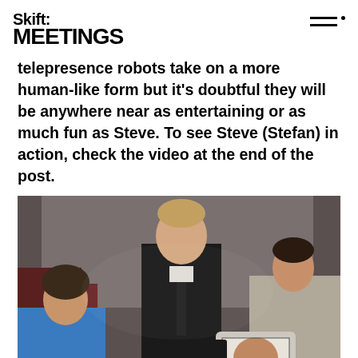Skift: MEETINGS
telepresence robots take on a more human-like form but it's doubtful they will be anywhere near as entertaining or as much fun as Steve. To see Steve (Stefan) in action, check the video at the end of the post.
[Figure (photo): A man in a dark suit with a tie stands on stage smiling, with a woman in a blue top shaking hands with a telepresence robot that displays a man's face on its screen. Another man is visible in the background.]